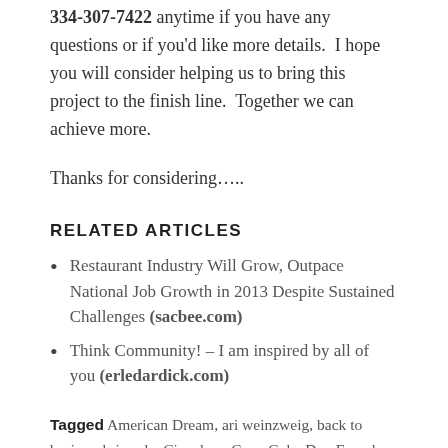334-307-7422 anytime if you have any questions or if you'd like more details. I hope you will consider helping us to bring this project to the finish line. Together we can achieve more.
Thanks for considering…..
RELATED ARTICLES
Restaurant Industry Will Grow, Outpace National Job Growth in 2013 Despite Sustained Challenges (sacbee.com)
Think Community! – I am inspired by all of you (erledardick.com)
Tagged American Dream, ari weinzweig, back to basics, chris cole, Cinnabon, Coca-Cola, Don Fox, don sweeney, ed rensi, Erle Dardick, Firehouse Subs, jon luther sr., Kat Cole, Los Angeles, National